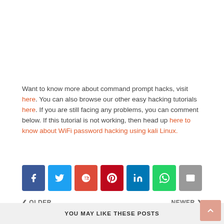Want to know more about command prompt hacks, visit here. You can also browse our other easy hacking tutorials here. If you are still facing any problems, you can comment below. If this tutorial is not working, then head up here to know about WiFi password hacking using kali Linux.
[Figure (other): Social sharing buttons row: Facebook, Twitter, Google+, Pinterest, LinkedIn, WhatsApp, Email]
< OLDER    NEWER >
YOU MAY LIKE THESE POSTS